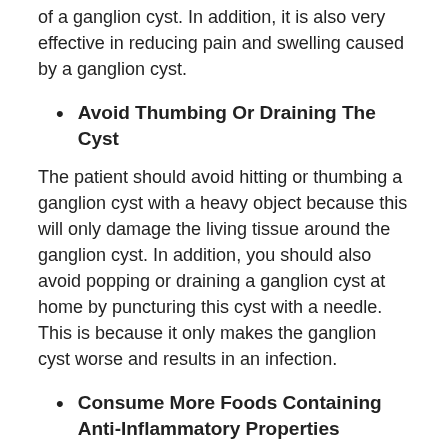of a ganglion cyst. In addition, it is also very effective in reducing pain and swelling caused by a ganglion cyst.
Avoid Thumbing Or Draining The Cyst
The patient should avoid hitting or thumbing a ganglion cyst with a heavy object because this will only damage the living tissue around the ganglion cyst. In addition, you should also avoid popping or draining a ganglion cyst at home by puncturing this cyst with a needle. This is because it only makes the ganglion cyst worse and results in an infection.
Consume More Foods Containing Anti-Inflammatory Properties